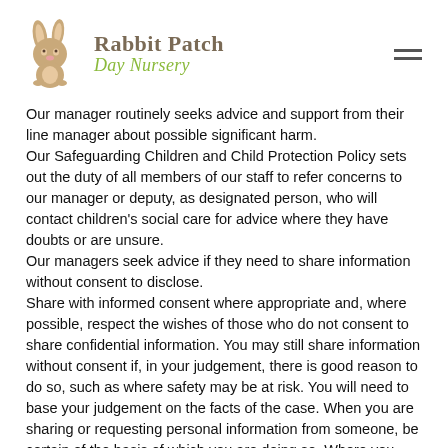Rabbit Patch Day Nursery
Our manager routinely seeks advice and support from their line manager about possible significant harm. Our Safeguarding Children and Child Protection Policy sets out the duty of all members of our staff to refer concerns to our manager or deputy, as designated person, who will contact children's social care for advice where they have doubts or are unsure. Our managers seek advice if they need to share information without consent to disclose. Share with informed consent where appropriate and, where possible, respect the wishes of those who do not consent to share confidential information. You may still share information without consent if, in your judgement, there is good reason to do so, such as where safety may be at risk. You will need to base your judgement on the facts of the case. When you are sharing or requesting personal information from someone, be certain of the basis of which you are doing so. Where you have consent, be mindful that